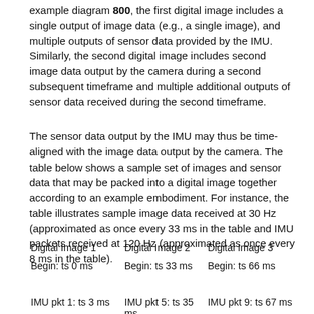example diagram 800, the first digital image includes a single output of image data (e.g., a single image), and multiple outputs of sensor data provided by the IMU. Similarly, the second digital image includes second image data output by the camera during a second subsequent timeframe and multiple additional outputs of sensor data received during the second timeframe.
The sensor data output by the IMU may thus be time-aligned with the image data output by the camera. The table below shows a sample set of images and sensor data that may be packed into a digital image together according to an example embodiment. For instance, the table illustrates sample image data received at 30 Hz (approximated as once every 33 ms in the table and IMU packets received at 120 Hz (approximated as once every 8 ms in the table).
| Digital Image 1 | Digital Image 2 | Digital Image 3 |
| --- | --- | --- |
| Begin: ts 0 ms | Begin: ts 33 ms | Begin: ts 66 ms |
| IMU pkt 1: ts 3 ms | IMU pkt 5: ts 35 ms | IMU pkt 9: ts 67 ms |